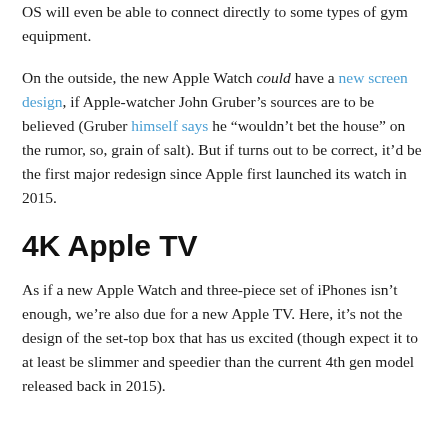OS will even be able to connect directly to some types of gym equipment.
On the outside, the new Apple Watch could have a new screen design, if Apple-watcher John Gruber’s sources are to be believed (Gruber himself says he “wouldn’t bet the house” on the rumor, so, grain of salt). But if turns out to be correct, it’d be the first major redesign since Apple first launched its watch in 2015.
4K Apple TV
As if a new Apple Watch and three-piece set of iPhones isn’t enough, we’re also due for a new Apple TV. Here, it’s not the design of the set-top box that has us excited (though expect it to at least be slimmer and speedier than the current 4th gen model released back in 2015).